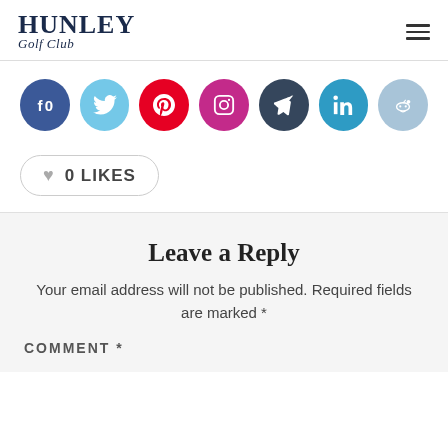HUNLEY Golf Club
[Figure (infographic): Social media share buttons: Facebook (0), Twitter, Pinterest, Instagram, Tumblr, LinkedIn, Reddit]
0 LIKES
Leave a Reply
Your email address will not be published. Required fields are marked *
COMMENT *